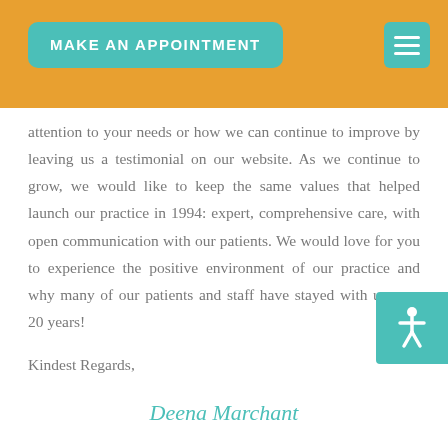MAKE AN APPOINTMENT
attention to your needs or how we can continue to improve by leaving us a testimonial on our website. As we continue to grow, we would like to keep the same values that helped launch our practice in 1994: expert, comprehensive care, with open communication with our patients. We would love for you to experience the positive environment of our practice and why many of our patients and staff have stayed with us over 20 years!
Kindest Regards,
Deena Marchant